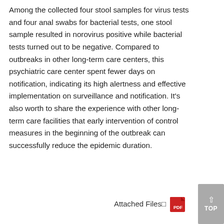Among the collected four stool samples for virus tests and four anal swabs for bacterial tests, one stool sample resulted in norovirus positive while bacterial tests turned out to be negative. Compared to outbreaks in other long-term care centers, this psychiatric care center spent fewer days on notification, indicating its high alertness and effective implementation on surveillance and notification. It's also worth to share the experience with other long-term care facilities that early intervention of control measures in the beginning of the outbreak can successfully reduce the epidemic duration.
Attached Files